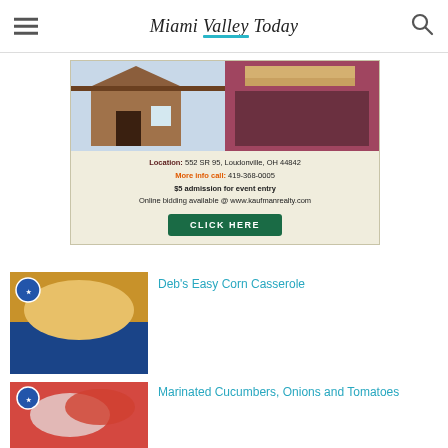Miami Valley Today
[Figure (photo): Advertisement for Kaufman Realty auction event showing a log cabin exterior and rustic bedroom interior. Text: Location: 552 SR 95, Loudonville, OH 44842 | More info call: 419-368-0005 | $5 admission for event entry | Online bidding available @ www.kaufmanrealty.com | CLICK HERE button]
[Figure (photo): Food photo of corn casserole on a blue plate with a blue ribbon award badge]
Deb's Easy Corn Casserole
[Figure (photo): Food photo of marinated cucumbers, onions and tomatoes with a blue ribbon award badge]
Marinated Cucumbers, Onions and Tomatoes